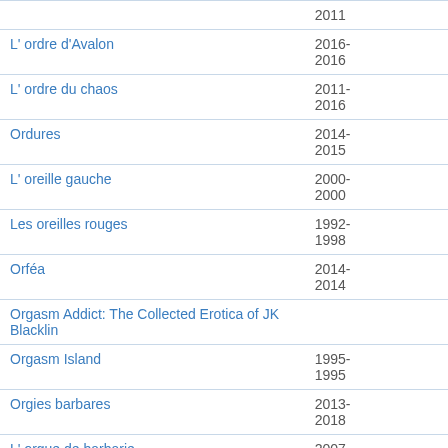| Title | Years |
| --- | --- |
|  | 2011 |
| L' ordre d'Avalon | 2016-
2016 |
| L' ordre du chaos | 2011-
2016 |
| Ordures | 2014-
2015 |
| L' oreille gauche | 2000-
2000 |
| Les oreilles rouges | 1992-
1998 |
| Orféa | 2014-
2014 |
| Orgasm Addict: The Collected Erotica of JK Blacklin |  |
| Orgasm Island | 1995-
1995 |
| Orgies barbares | 2013-
2018 |
| L' orgue de barbarie | 2007-
2007 |